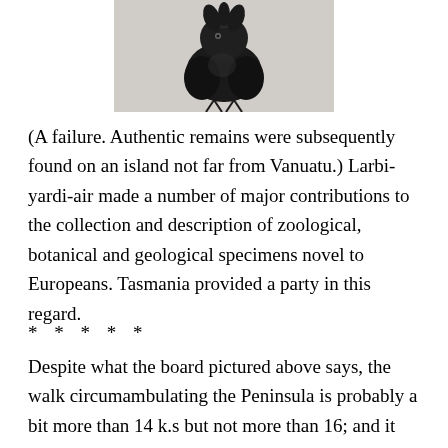[Figure (photo): A dark-colored bird illustration/photograph, cropped to show upper body, centered at top of page.]
(A failure. Authentic remains were subsequently found on an island not far from Vanuatu.) Larbi-yardi-air made a number of major contributions to the collection and description of zoological, botanical and geological specimens novel to Europeans. Tasmania provided a party in this regard.
* * * * *
Despite what the board pictured above says, the walk circumambulating the Peninsula is probably a bit more than 14 k.s but not more than 16; and it took us a bit over six hours with two long breaks, or close to five hours of steady walking. There is, as occasionally advertised, a